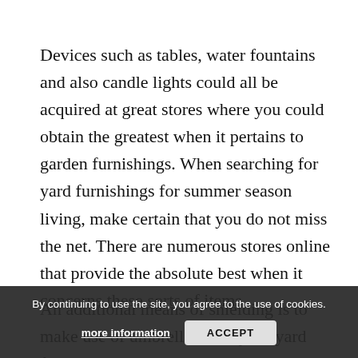Devices such as tables, water fountains and also candle lights could all be acquired at great stores where you could obtain the greatest when it pertains to garden furnishings. When searching for yard furnishings for summer season living, make certain that you do not miss the net. There are numerous stores online that provide the absolute best when it concerns these sorts of items.
An additional means of shielding is to make use of umbrellas over your yard furnishings, particularly when it concerns tables used by the whole family. The majority of the very best umbrellas today utilize state-of-the-art modern technology when it concerns opening up and also